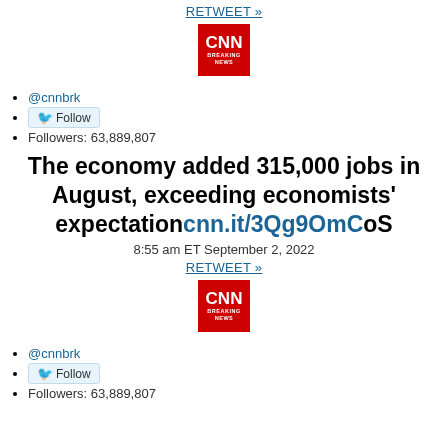RETWEET »
[Figure (logo): CNN Breaking News logo - red square with CNN text and BREAKING NEWS below]
(bullet - logo row)
@cnnbrk
Follow button
Followers: 63,889,807
The economy added 315,000 jobs in August, exceeding economists' expectation cnn.it/3Qg9OmC oS
8:55 am ET September 2, 2022
RETWEET »
[Figure (logo): CNN Breaking News logo - red square with CNN text and BREAKING NEWS below]
(bullet - logo row)
@cnnbrk
Follow button
Followers: 63,889,807